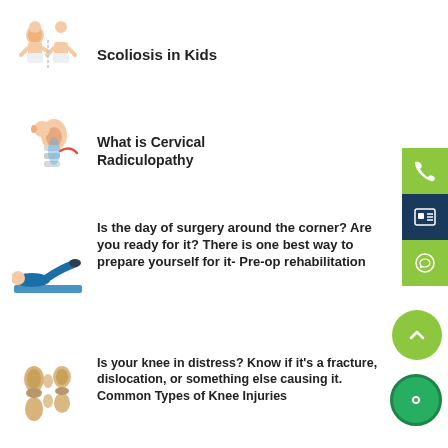Scoliosis in Kids
What is Cervical Radiculopathy
Is the day of surgery around the corner? Are you ready for it? There is one best way to prepare yourself for it- Pre-op rehabilitation
Is your knee in distress? Know if it's a fracture, dislocation, or something else causing it. Common Types of Knee Injuries